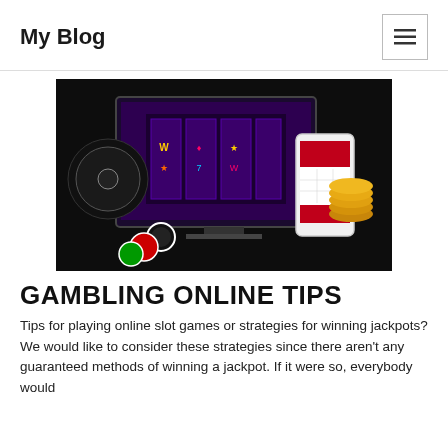My Blog
[Figure (photo): Online gambling promotional image showing a laptop, tablet, and smartphone displaying slot machine games, with casino chips and gold coins arranged in front, all on a dark background.]
GAMBLING ONLINE TIPS
Tips for playing online slot games or strategies for winning jackpots? We would like to consider these strategies since there aren't any guaranteed methods of winning a jackpot. If it were so, everybody would